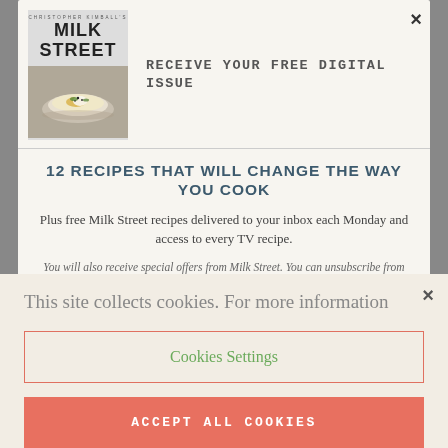[Figure (screenshot): Milk Street cookbook cover with bowl of food image and subtitle text]
RECEIVE YOUR FREE DIGITAL ISSUE
12 RECIPES THAT WILL CHANGE THE WAY YOU COOK
Plus free Milk Street recipes delivered to your inbox each Monday and access to every TV recipe.
You will also receive special offers from Milk Street. You can unsubscribe from receiving our emails at any time.
This site collects cookies. For more information
Cookies Settings
ACCEPT ALL COOKIES